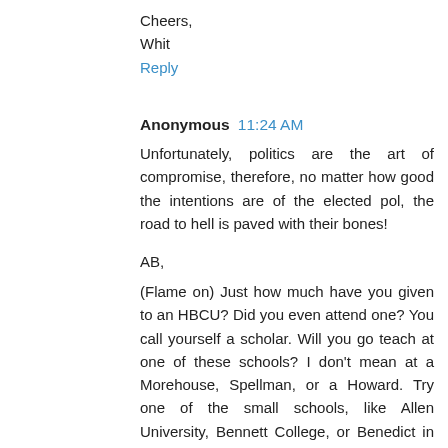Cheers,
Whit
Reply
Anonymous  11:24 AM
Unfortunately, politics are the art of compromise, therefore, no matter how good the intentions are of the elected pol, the road to hell is paved with their bones!
AB,
(Flame on) Just how much have you given to an HBCU? Did you even attend one? You call yourself a scholar. Will you go teach at one of these schools? I don't mean at a Morehouse, Spellman, or a Howard. Try one of the small schools, like Allen University, Bennett College, or Benedict in SC, How about Paine College or Stillman, huh. There's Edward Jackson and Voorhees, Rust College and Lane College and more. Go make that sacrifice and maybe you'll have credibility to speak of the beliefs following here...